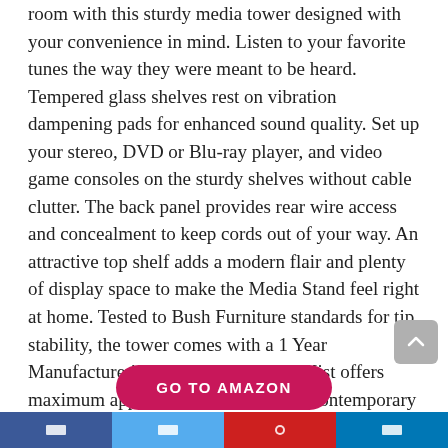room with this sturdy media tower designed with your convenience in mind. Listen to your favorite tunes the way they were meant to be heard. Tempered glass shelves rest on vibration dampening pads for enhanced sound quality. Set up your stereo, DVD or Blu-ray player, and video game consoles on the sturdy shelves without cable clutter. The back panel provides rear wire access and concealment to keep cords out of your way. An attractive top shelf adds a modern flair and plenty of display space to make the Media Stand feel right at home. Tested to Bush Furniture standards for tip stability, the tower comes with a 1 Year Manufacturer's Warranty. Midnight Mist offers maximum appeal when only an ultra contemporary style will do.
[Figure (other): GO TO AMAZON button — a red pill-shaped button with white bold uppercase text]
Social media share bar with Facebook, Twitter, Pinterest/YouTube, and LinkedIn icons